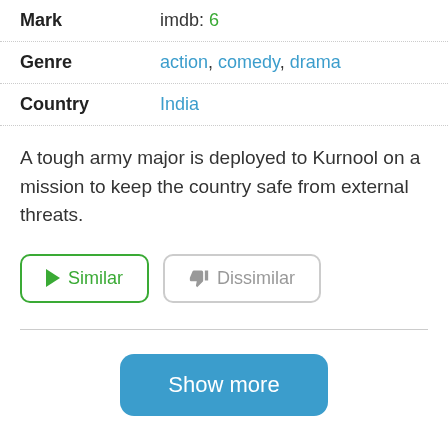| Mark | imdb: 6 |
| Genre | action, comedy, drama |
| Country | India |
A tough army major is deployed to Kurnool on a mission to keep the country safe from external threats.
► Similar
👎 Dissimilar
Show more